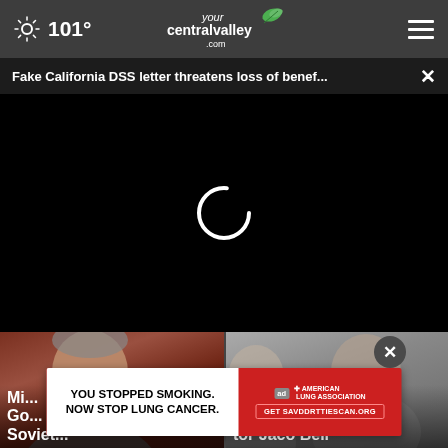101° yourcentralvalley.com
Fake California DSS letter threatens loss of benef... ×
[Figure (screenshot): Black video player area with white circular loading spinner]
[Figure (photo): Left news card with photo of elderly man gesturing, headline starting with 'Mi... Go... Soviet...']
[Figure (photo): Right news card with photo, headline starting with 'Ma... tor Jaco Bell']
[Figure (other): Ad overlay: 'YOU STOPPED SMOKING. NOW STOP LUNG CANCER.' American Lung Association ad with Get SAVDDRTTIESCAN.ORG button]